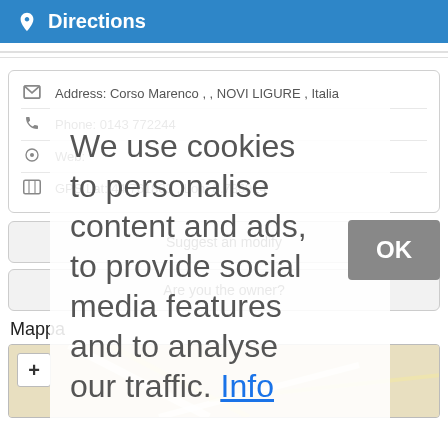Directions
Address: Corso Marenco , , NOVI LIGURE , Italia
Phone: 0143 772244
Web:
GPS Lat: 44.761803 , Lon: 8.786914
Suggest an modify
Are you the owner?
Mappa
[Figure (screenshot): Cookie consent overlay showing 'We use cookies to personalise content and ads, to provide social media features and to analyse our traffic. Info' with OK button]
[Figure (map): Map area showing street map of Novi Ligure area with zoom plus button]